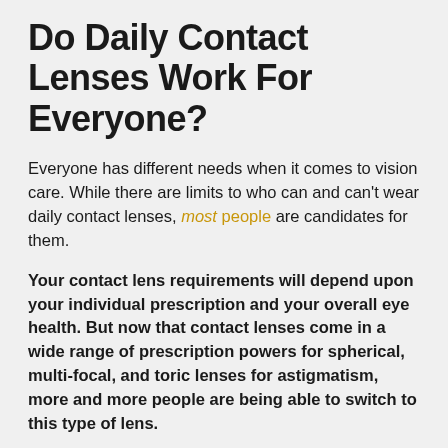Do Daily Contact Lenses Work For Everyone?
Everyone has different needs when it comes to vision care. While there are limits to who can and can't wear daily contact lenses, most people are candidates for them.
Your contact lens requirements will depend upon your individual prescription and your overall eye health. But now that contact lenses come in a wide range of prescription powers for spherical, multi-focal, and toric lenses for astigmatism, more and more people are being able to switch to this type of lens.
And, as said earlier, people who haven't been able to wear contacts in the past due to dryness or allergies have a much better chance of doing